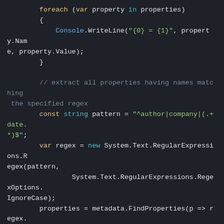[Figure (screenshot): Code editor screenshot showing C# code with syntax highlighting on a dark background. The code iterates over properties, extracts properties matching a regex pattern, and displays matching properties.]